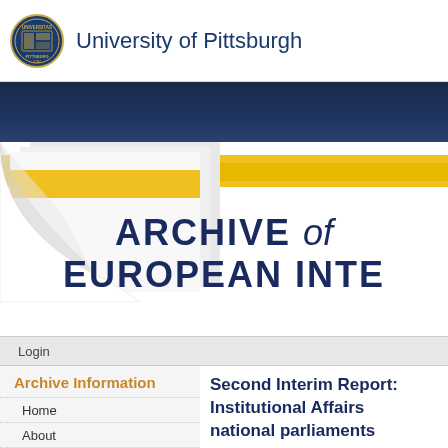University of Pittsburgh
[Figure (logo): University of Pittsburgh circular seal/crest logo in navy and gold]
ARCHIVE of EUROPEAN INTE
Login
Archive Information
Home
About
Second Interim Report Institutional Affairs national parliaments